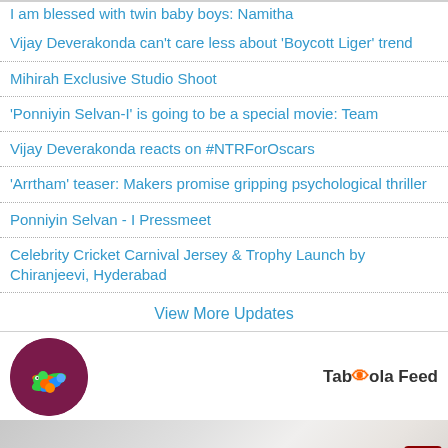I am blessed with twin baby boys: Namitha
Vijay Deverakonda can't care less about 'Boycott Liger' trend
Mihirah Exclusive Studio Shoot
'Ponniyin Selvan-I' is going to be a special movie: Team
Vijay Deverakonda reacts on #NTRForOscars
'Arrtham' teaser: Makers promise gripping psychological thriller
Ponniyin Selvan - I Pressmeet
Celebrity Cricket Carnival Jersey & Trophy Launch by Chiranjeevi, Hyderabad
View More Updates
[Figure (logo): Taboola Feed logo with colorful worm/snake icon on dark purple circular background]
[Figure (photo): Partial photo at bottom of page showing what appears to be food items on a surface]